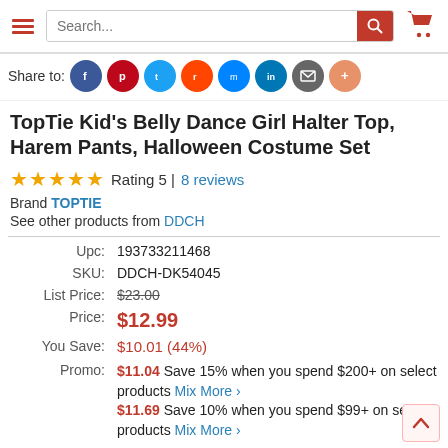Search... [search bar with hamburger menu and cart icon]
Share to: [social icons: Facebook, Pinterest, Twitter, Reddit, Messenger, LinkedIn, Email, More]
TopTie Kid's Belly Dance Girl Halter Top, Harem Pants, Halloween Costume Set
★★★★★ Rating 5 | 8 reviews
Brand TOPTIE
See other products from DDCH
| Label | Value |
| --- | --- |
| Upc: | 193733211468 |
| SKU: | DDCH-DK54045 |
| List Price: | $23.00 |
| Price: | $12.99 |
| You Save: | $10.01 (44%) |
| Promo: | $11.04 Save 15% when you spend $200+ on select products Mix More ›
$11.69 Save 10% when you spend $99+ on select products Mix More › |